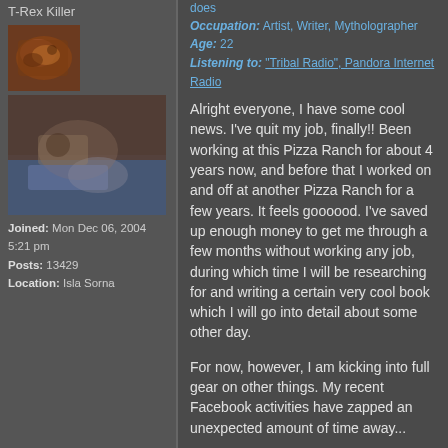T-Rex Killer
[Figure (photo): Small avatar image of a snake or reptile with orange/brown coloring]
[Figure (photo): Larger image showing an animal or objects on a blue surface, somewhat dark/blurry]
Joined: Mon Dec 06, 2004 5:21 pm
Posts: 13429
Location: Isla Sorna
Occupation: Artist, Writer, Mytholographer
Age: 22
Listening to: "Tribal Radio", Pandora Internet Radio
Alright everyone, I have some cool news. I've quit my job, finally!! Been working at this Pizza Ranch for about 4 years now, and before that I worked on and off at another Pizza Ranch for a few years. It feels goooood. I've saved up enough money to get me through a few months without working any job, during which time I will be researching for and writing a certain very cool book which I will go into detail about some other day.
For now, however, I am kicking into full gear on other things. My recent Facebook activities have zapped an unexpected amount of time away...